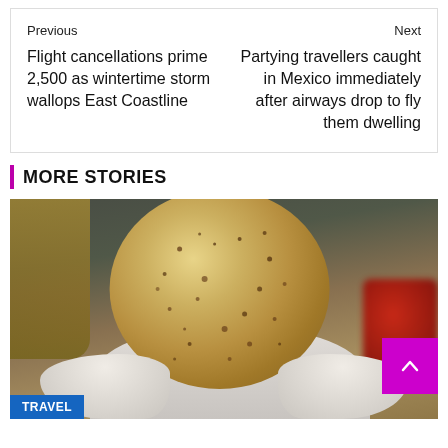Previous | Next
Flight cancellations prime 2,500 as wintertime storm wallops East Coastline
Partying travellers caught in Mexico immediately after airways drop to fly them dwelling
MORE STORIES
[Figure (photo): Person in white cap and white gloves holding up a large round seeded flatbread/cracker in front of their face, with strawberries visible in the background]